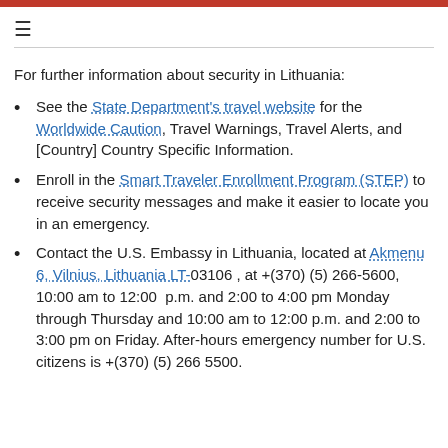≡
For further information about security in Lithuania:
See the State Department's travel website for the Worldwide Caution, Travel Warnings, Travel Alerts, and [Country] Country Specific Information.
Enroll in the Smart Traveler Enrollment Program (STEP) to receive security messages and make it easier to locate you in an emergency.
Contact the U.S. Embassy in Lithuania, located at Akmenu 6, Vilnius, Lithuania LT-03106 , at +(370) (5) 266-5600, 10:00 am to 12:00 p.m. and 2:00 to 4:00 pm Monday through Thursday and 10:00 am to 12:00 p.m. and 2:00 to 3:00 pm on Friday. After-hours emergency number for U.S. citizens is +(370) (5) 266 5500.